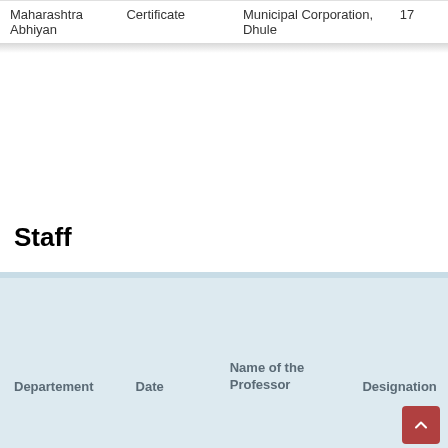| Departement | Certificate | Municipal Corporation, Dhule | 17 |
| --- | --- | --- | --- |
| Maharashtra Abhiyan | Certificate | Municipal Corporation, Dhule | 17 |
Staff
| Departement | Date | Name of the Professor | Designation |
| --- | --- | --- | --- |